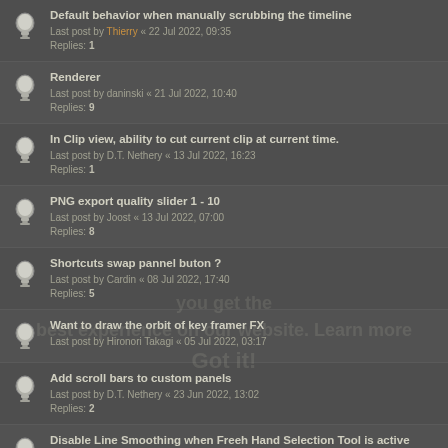Default behavior when manually scrubbing the timeline
Last post by Thierry « 22 Jul 2022, 09:35
Replies: 1
Renderer
Last post by daninski « 21 Jul 2022, 10:40
Replies: 9
In Clip view, ability to cut current clip at current time.
Last post by D.T. Nethery « 13 Jul 2022, 16:23
Replies: 1
PNG export quality slider 1 - 10
Last post by Joost « 13 Jul 2022, 07:00
Replies: 8
Shortcuts swap pannel buton ?
Last post by Cardin « 08 Jul 2022, 17:40
Replies: 5
Want to draw the orbit of key framer FX
Last post by Hironori Takagi « 05 Jul 2022, 03:17
Add scroll bars to custom panels
Last post by D.T. Nethery « 23 Jun 2022, 13:02
Replies: 2
Disable Line Smoothing when Freeh Hand Selection Tool is active
Last post by Cardin « 23 Jun 2022, 07:00
Line Smoothing - deactivate smoothing when using Eraser
Last post by Xavier « 22 Jun 2022, 20:27
Replies: 8